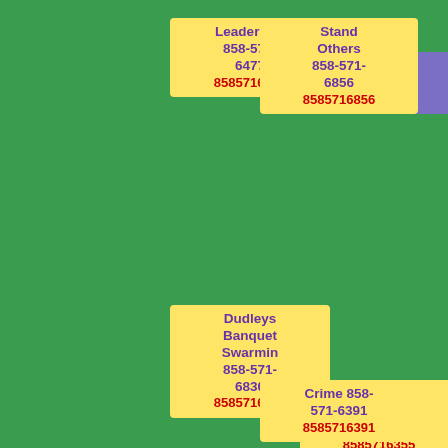Leader Did 858-571-6477 8585716477
Late 858-571-6034 8585716034
Stand Others 858-571-6856 8585716856
Dudleys Banquet Swarmin 858-571-6830 8585716830
Flexible Ill 858-571-6355 8585716355
Crime 858-571-6391 8585716391
Butter Lisa Bawling 858-571-6517 8585716517
Hidden 858-571-6836 8585716836
Later 858-571-6937 8585716937
Sight Relatives
Married H